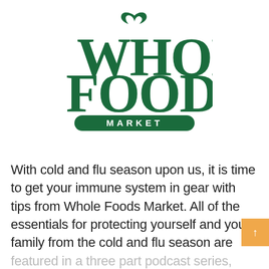[Figure (logo): Whole Foods Market logo in dark green: large stylized text 'WHOLE FOODS' with a leaf/swirl above the W, and 'MARKET' in a rounded rectangle banner below]
With cold and flu season upon us, it is time to get your immune system in gear with tips from Whole Foods Market. All of the essentials for protecting yourself and your family from the cold and flu season are featured in a three part podcast series, running from now through the end of